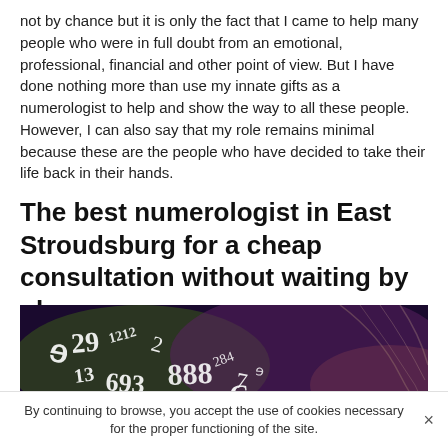not by chance but it is only the fact that I came to help many people who were in full doubt from an emotional, professional, financial and other point of view. But I have done nothing more than use my innate gifts as a numerologist to help and show the way to all these people. However, I can also say that my role remains minimal because these are the people who have decided to take their life back in their hands.
The best numerologist in East Stroudsburg for a cheap consultation without waiting by phone
[Figure (photo): Dark mystical image with numerology-related numbers and symbols (29, 1212, 2, 693, 888, 284, 13, 11, 101, 648) scattered in white text over a purple/brown smoky background]
By continuing to browse, you accept the use of cookies necessary for the proper functioning of the site.